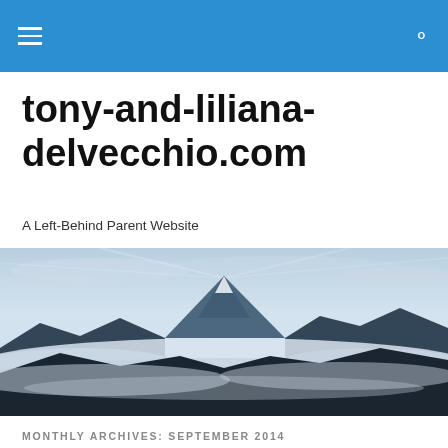≡  🔍
tony-and-liliana-delvecchio.com
A Left-Behind Parent Website
[Figure (photo): Mountain peak rising above clouds against a dramatic sky, black and white/blue toned landscape photograph]
MONTHLY ARCHIVES: SEPTEMBER 2014
Niagara Falls and Crow Dog's Paradise